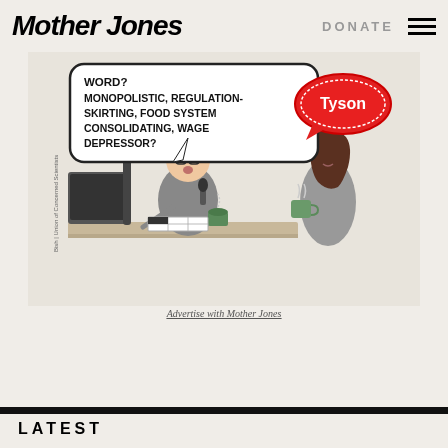Mother Jones | DONATE
[Figure (illustration): Political cartoon showing a man at a desk speaking into a microphone with a speech bubble reading 'WORD? MONOPOLISTIC, REGULATION-SKIRTING, FOOD SYSTEM CONSOLIDATING, WAGE DEPRESSOR?' and a woman holding a coffee mug with a Tyson branded speech bubble. Credit: Bish / Union of Concerned Scientists.]
Advertise with Mother Jones
LATEST